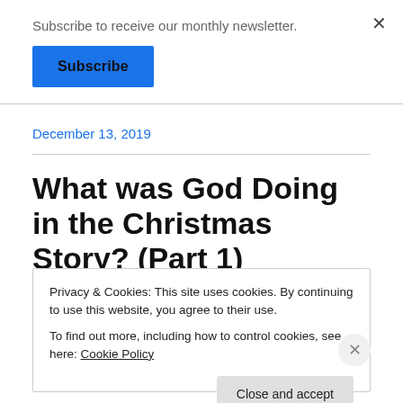Subscribe to receive our monthly newsletter.
Subscribe
December 13, 2019
What was God Doing in the Christmas Story? (Part 1)
Privacy & Cookies: This site uses cookies. By continuing to use this website, you agree to their use.
To find out more, including how to control cookies, see here: Cookie Policy
Close and accept